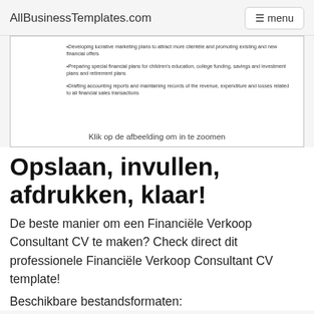AllBusinessTemplates.com  menu
[Figure (screenshot): Preview of a Financiële Verkoop Consultant CV template showing bullet points about developing marketing plans, preparing financial plans, and drafting accounting reports]
Klik op de afbeelding om in te zoomen
Opslaan, invullen, afdrukken, klaar!
De beste manier om een Financiële Verkoop Consultant CV te maken? Check direct dit professionele Financiële Verkoop Consultant CV template!
Beschikbare bestandsformaten: